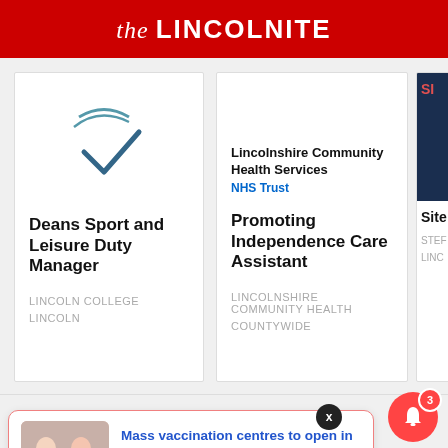the LINCOLNITE
Deans Sport and Leisure Duty Manager
LINCOLN COLLEGE
LINCOLN
Lincolnshire Community Health Services
NHS Trust
Promoting Independence Care Assistant
LINCOLNSHIRE COMMUNITY HEALTH
COUNTYWIDE
Site
STEF
LINC
Mass vaccination centres to open in Lincoln and
10 minutes ago